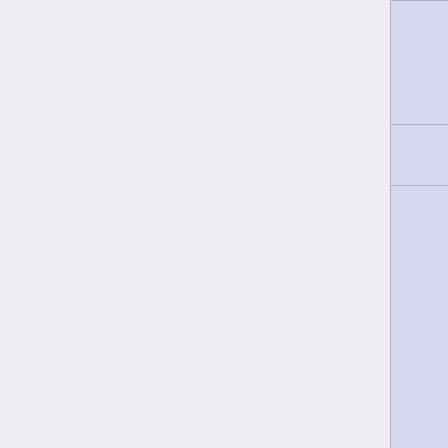| Category | Units |
| --- | --- |
|  | · Kuang Shi · Mech-Engine Zhanshi · Zhanshi Yisheng · Zhanying · Xi Zhuang |
| Medium Infantry | Daoying · Ko Dali* · Raider · Sun Tze 2.0 · Tiger Soldier |
| Heavy Infantry | Daofei · Hac Tao · Haidao · Haramaki* · Hulang · Hsie · Imperial Agent, Crane Rank · Invincible* · Krit Kokram · Liu Xing · Mowang · Shang · Shikami · Su-Jian · Sun Tze · Tai Sheng · Wu Ming · Yan Huo · Zhencha · Zuyo |
| Skirmishers | Guilang · Kanren · Ninja |
| Warbands | Shaolin Monk |
| Remotes | Yaokong · Yaopu Panggul · Yaoxie · Yaozao |
| TAGs | Guijia |
Categories: YuJing Units | YuJing Warband | Warband